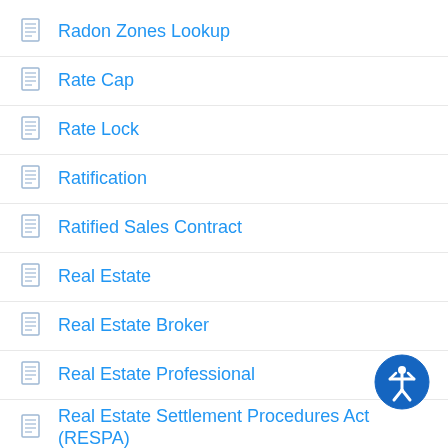Radon Zones Lookup
Rate Cap
Rate Lock
Ratification
Ratified Sales Contract
Real Estate
Real Estate Broker
Real Estate Professional
Real Estate Settlement Procedures Act (RESPA)
Real Property
REASONABLE ACCOMMODATION
Reasonable Care